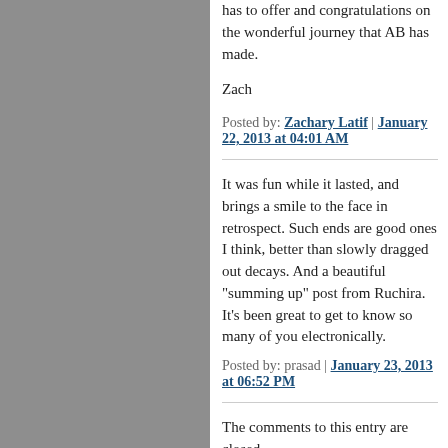has to offer and congratulations on the wonderful journey that AB has made.
Zach
Posted by: Zachary Latif | January 22, 2013 at 04:01 AM
It was fun while it lasted, and brings a smile to the face in retrospect. Such ends are good ones I think, better than slowly dragged out decays. And a beautiful "summing up" post from Ruchira. It's been great to get to know so many of you electronically.
Posted by: prasad | January 23, 2013 at 06:52 PM
The comments to this entry are closed.